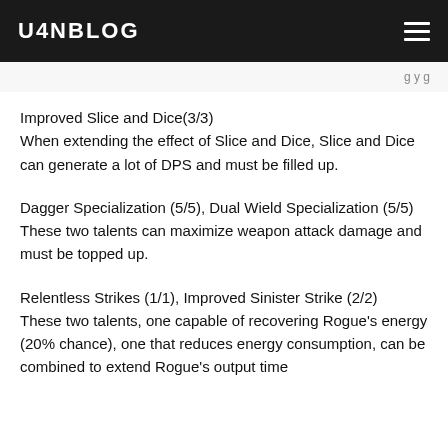U4NBLOG
Improved Slice and Dice(3/3)
When extending the effect of Slice and Dice, Slice and Dice can generate a lot of DPS and must be filled up.
Dagger Specialization (5/5), Dual Wield Specialization (5/5)
These two talents can maximize weapon attack damage and must be topped up.
Relentless Strikes (1/1), Improved Sinister Strike (2/2)
These two talents, one capable of recovering Rogue's energy (20% chance), one that reduces energy consumption, can be combined to extend Rogue's output time